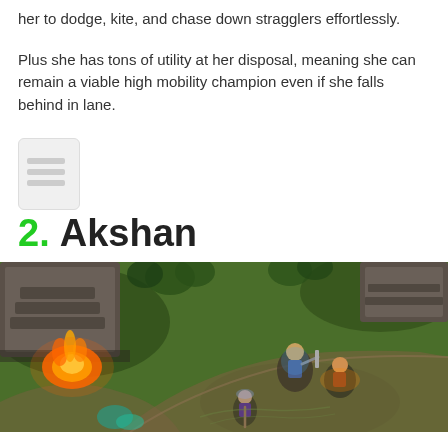her to dodge, kite, and chase down stragglers effortlessly.
Plus she has tons of utility at her disposal, meaning she can remain a viable high mobility champion even if she falls behind in lane.
2. Akshan
[Figure (screenshot): League of Legends gameplay screenshot showing a top-down view of the game map with a champion character visible on a grassy terrain near structures. A glowing orange/fire effect is visible in the lower left area.]